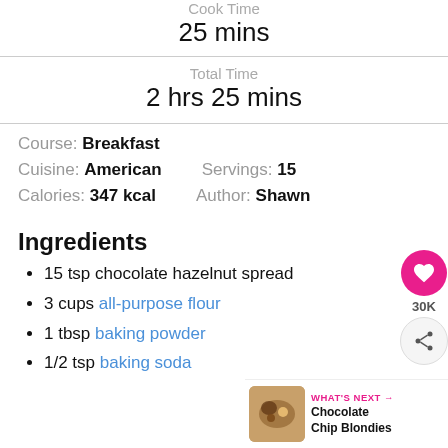Cook Time
25 mins
Total Time
2 hrs 25 mins
Course: Breakfast
Cuisine: American    Servings: 15
Calories: 347 kcal    Author: Shawn
Ingredients
15 tsp chocolate hazelnut spread
3 cups all-purpose flour
1 tbsp baking powder
1/2 tsp baking soda